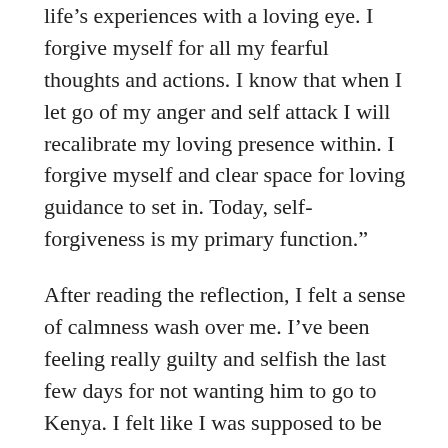life's experiences with a loving eye. I forgive myself for all my fearful thoughts and actions. I know that when I let go of my anger and self attack I will recalibrate my loving presence within. I forgive myself and clear space for loving guidance to set in. Today, self-forgiveness is my primary function."
After reading the reflection, I felt a sense of calmness wash over me. I’ve been feeling really guilty and selfish the last few days for not wanting him to go to Kenya. I felt like I was supposed to be strong all the time, hold in the tears (although I’ve been told numerous times it’s always ok to cry it out) and be that supportive girlfriend who is independent, strong and has her shit together. Today I felt I had extra permission to not be perfect. It felt ok to have been selfish and have irrational fears and feelings.